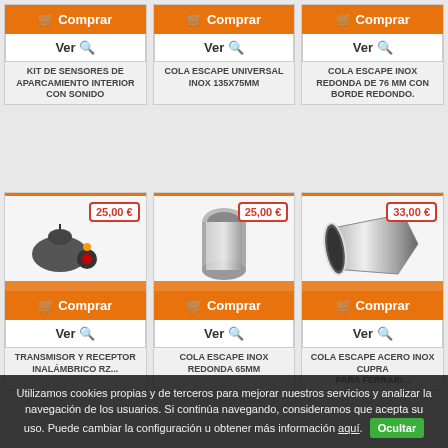[Figure (screenshot): E-commerce product grid with 6 product cards showing automotive accessories. Top row: KIT DE SENSORES DE APARCAMIENTO INTERIOR CON SONIDO, COLA ESCAPE UNIVERSAL INOX 135x75MM, COLA ESCAPE INOX REDONDA DE 76 MM CON BORDE REDONDO. Bottom row: TRANSMISOR Y RECEPTOR (with 25,00€ price), COLA ESCAPE INOX REDONDA 65MM (25,00€), COLA ESCAPE ACERO INOX CUPRA (33,00€). Each card has orange Comprar button and Ver button.]
Utilizamos cookies propias y de terceros para mejorar nuestros servicios y analizar la navegación de los usuarios. Si continúa navegando, consideramos que acepta su uso. Puede cambiar la configuración u obtener más información aquí.  Ocultar